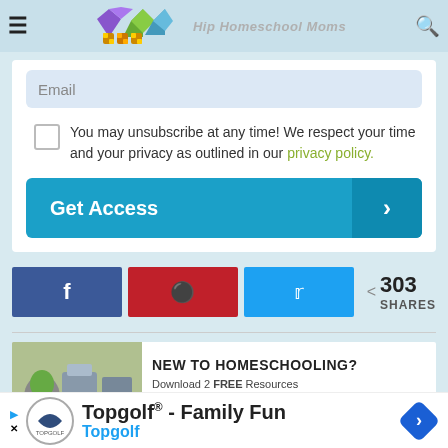Hip Homeschool Moms
Email
You may unsubscribe at any time! We respect your time and your privacy as outlined in our privacy policy.
Get Access
303 SHARES
[Figure (screenshot): NEW TO HOMESCHOOLING? Download 2 FREE Resources from #1 Apologia banner advertisement]
Topgolf® - Family Fun Topgolf